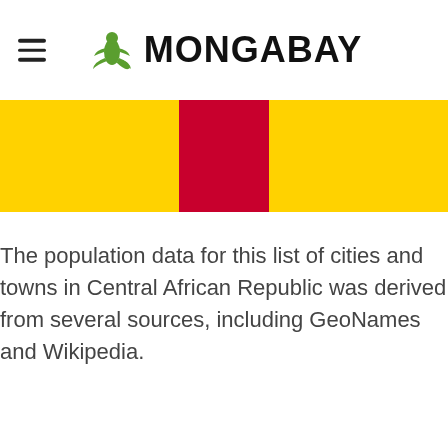MONGABAY
[Figure (illustration): Central African Republic flag strip showing yellow and red horizontal bands]
The population data for this list of cities and towns in Central African Republic was derived from several sources, including GeoNames and Wikipedia.